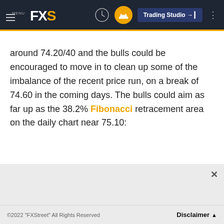MENU FXS | Trading Studio
around 74.20/40 and the bulls could be encouraged to move in to clean up some of the imbalance of the recent price run, on a break of 74.60 in the coming days. The bulls could aim as far up as the 38.2% Fibonacci retracement area on the daily chart near 75.10:
©2022 "FXStreet" All Rights Reserved    Disclaimer ▲